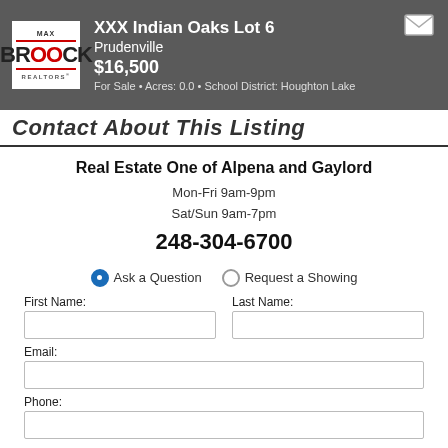XXX Indian Oaks Lot 6 Prudenville $16,500 For Sale • Acres: 0.0 • School District: Houghton Lake
Contact About This Listing
Real Estate One of Alpena and Gaylord
Mon-Fri 9am-9pm
Sat/Sun 9am-7pm
248-304-6700
Ask a Question   Request a Showing
First Name:
Last Name:
Email:
Phone: